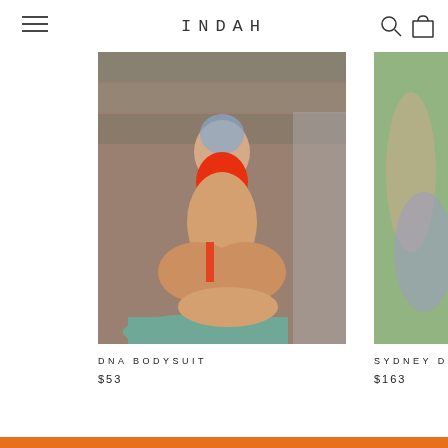INDAH
[Figure (photo): Model wearing a red DNA bodysuit, crouching on a teal block in an outdoor setting]
[Figure (photo): Partial view of model in SYDNEY D item in a green outdoor setting]
DNA BODYSUIT
$53
SYDNEY D
$163